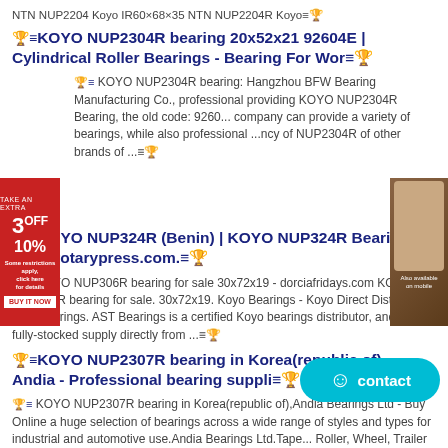NTN NUP2204 Koyo IR60×68×35 NTN NUP2204R Koyo≡🏆
🏆≡KOYO NUP2304R bearing 20x52x21 92604E | Cylindrical Roller Bearings - Bearing For Wor≡🏆
🏆≡ KOYO NUP2304R bearing: Hangzhou BFW Bearing Manufacturing Co., professional providing KOYO NUP2304R Bearing, the old code: 9260... company can provide a variety of bearings, while also professional ...ncy of NUP2304R of other brands of ...≡🏆
🏆≡KOYO NUP324R (Benin) | KOYO NUP324R Bearing - offsetrotarypress.com.≡🏆
🏆≡ KOYO NUP306R bearing for sale 30x72x19 - dorciafridays.com KOYO NUP306R bearing for sale. 30x72x19. Koyo Bearings - Koyo Direct Distributor | AST Bearings. AST Bearings is a certified Koyo bearings distributor, and has a fully-stocked supply directly from ...≡🏆
🏆≡KOYO NUP2307R bearing in Korea(republic of) - Andia - Professional bearing suppli≡🏆
🏆≡ KOYO NUP2307R bearing in Korea(republic of),Andia Bearings Ltd - Buy Online a huge selection of bearings across a wide range of styles and types for industrial and automotive use.Andia Bearings Ltd.Tape... Roller, Wheel, Trailer Bearings, Timken ...≡🏆
🏆≡NUP - JTEKT Corporation(Koyo) - Free 3D CAD Mode≡🏆